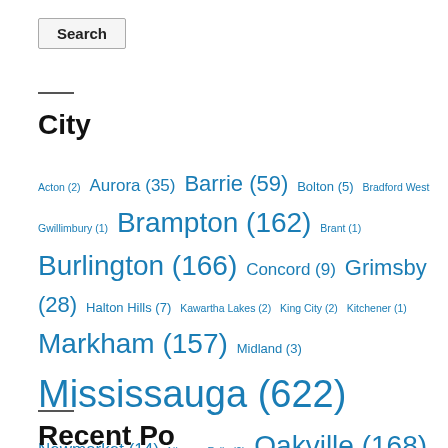Search
City
Acton (2) Aurora (35) Barrie (59) Bolton (5) Bradford West Gwillimbury (1) Brampton (162) Brant (1) Burlington (166) Concord (9) Grimsby (28) Halton Hills (7) Kawartha Lakes (2) King City (2) Kitchener (1) Markham (157) Midland (3) Mississauga (622) Newmarket (14) Niagara Falls (2) Oakville (168) Orillia (7) Port Colborne (1) Richmond Hill (141) St. Catharines (2) Toronto (2933) Vaughan (233) Welland (6) Whitchurch-Stouffville (15)
Recent Posts